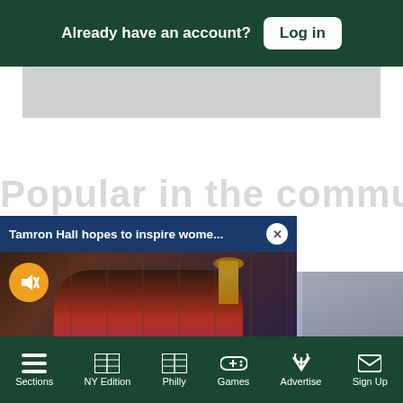Already have an account? Log in
[Figure (screenshot): Gray advertisement banner placeholder]
Popular in the community
[Figure (screenshot): Video popup: Tamron Hall hopes to inspire wome... with close button, mute icon, woman in colorful dress seated with Emmy award visible in background]
[Figure (screenshot): Right card showing partial image with text: ove...]
[Figure (screenshot): Right card showing partial image with text: Dad of League]
Sections  NY Edition  Philly  Games  Advertise  Sign Up